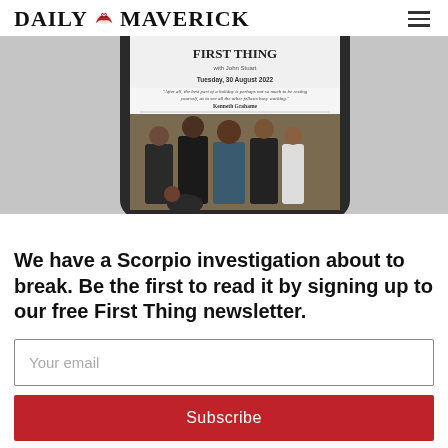DAILY MAVERICK
[Figure (screenshot): A smartphone displaying the First Thing newsletter dated Tuesday, 30 August 2022, with a quote by Kenneth Grahame and a photo of several men in suits standing in what appears to be a courtroom or official building.]
We have a Scorpio investigation about to break. Be the first to read it by signing up to our free First Thing newsletter.
Your email
Subscribe